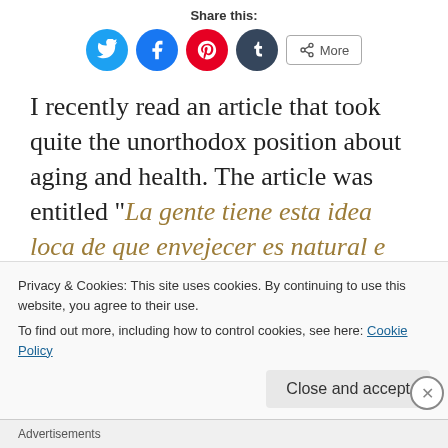Share this:
[Figure (infographic): Social sharing buttons: Twitter (blue circle), Facebook (blue circle), Pinterest (red circle), Tumblr (dark navy circle), and a More button with share icon]
I recently read an article that took quite the unorthodox position about aging and health. The article was entitled “La gente tiene esta idea loca de que envejecer es natural e inevitable, y me toca estar explicando que no lo es.” which translates
Privacy & Cookies: This site uses cookies. By continuing to use this website, you agree to their use.
To find out more, including how to control cookies, see here: Cookie Policy
Close and accept
Advertisements